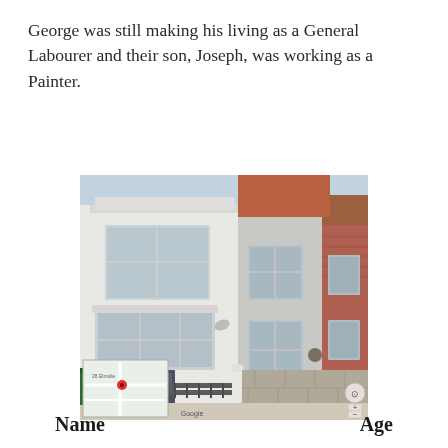George was still making his living as a General Labourer and their son, Joseph, was working as a Painter.
[Figure (photo): Google Street View photo of a row of terraced houses on a residential street. The left house is white rendered with a bay window and decorative ironwork fence. The middle house is grey render, two-storey with white sash windows. The right house is red brick. A stone block boundary wall runs along the front. An inset map thumbnail is visible in the bottom-left corner of the image, and a Google watermark appears at the bottom.]
| Name | Age |
| --- | --- |